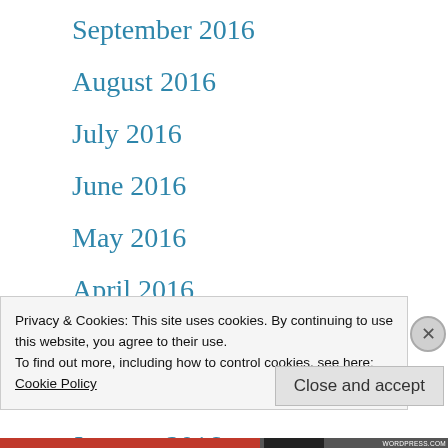September 2016
August 2016
July 2016
June 2016
May 2016
April 2016
March 2016
February 2016
January 2016
Privacy & Cookies: This site uses cookies. By continuing to use this website, you agree to their use.
To find out more, including how to control cookies, see here: Cookie Policy
Close and accept